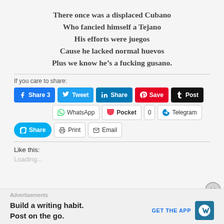There once was a displaced Cubano
Who fancied himself a Tejano
His efforts were juegos
Cause he lacked normal huevos
Plus we know he’s a fucking gusano.
If you care to share:
[Figure (screenshot): Social share buttons: Facebook Share 3, Tweet, LinkedIn Share, Pinterest Save, Tumblr Post, WhatsApp, Pocket 0, Telegram, Skype Share, Print, Email]
Like this:
Loading...
Advertisements
Build a writing habit. Post on the go.
GET THE APP [WordPress logo]